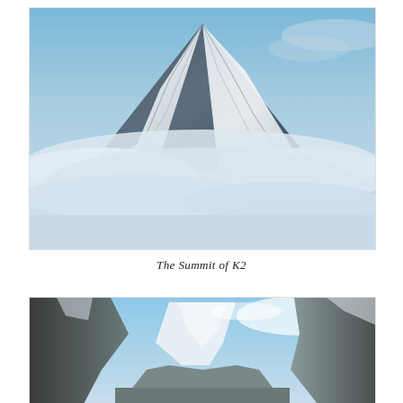[Figure (photo): Photograph of the snow-covered summit of K2 mountain emerging from clouds, with a blue sky background. The peak is triangular with snow and rock visible, surrounded by white clouds at its base.]
The Summit of K2
[Figure (photo): Photograph of mountain valley with rugged rocky peaks on either side, a distant snow-covered mountain visible in the center background, under a partly cloudy blue sky.]